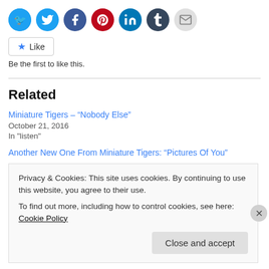[Figure (other): Row of social media share icons: Twitter (blue), Facebook (blue), Pinterest (red), LinkedIn (teal), Tumblr (dark navy), Email (light grey)]
Like
Be the first to like this.
Related
Miniature Tigers – “Nobody Else”
October 21, 2016
In "listen"
Another New One From Miniature Tigers: “Pictures Of You”
Privacy & Cookies: This site uses cookies. By continuing to use this website, you agree to their use.
To find out more, including how to control cookies, see here: Cookie Policy
Close and accept